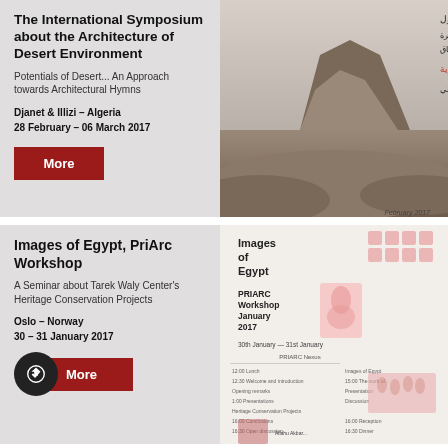The International Symposium about the Architecture of Desert Environment
Potentials of Desert... An Approach towards Architectural Hymns
Djanet & Illizi - Algeria
28 February - 06 March 2017
[Figure (illustration): Desert landscape with Arabic text overlay showing symposium poster. Mountain/mesa in sandy desert with Arabic title and red subtitle text.]
Images of Egypt, PriArc Workshop
A Seminar about Tarek Waly Center's Heritage Conservation Projects
Oslo - Norway
30 - 31 January 2017
[Figure (illustration): PRIARC Workshop poster for Images of Egypt, January 2017 event in Oslo, showing workshop schedule and imagery.]